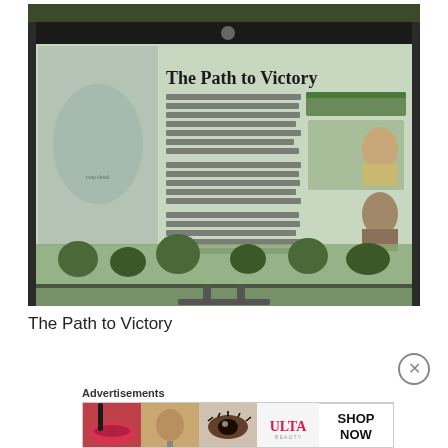[Figure (photo): A photograph of an outdoor interpretive sign titled 'The Path to Victory'. The sign has a teal/green background with text about the American Revolutionary War, featuring portraits of historical figures and a battle scene illustration at the bottom. The sign is mounted on a stand photographed outdoors with foliage in the background.]
The Path to Victory
[Figure (photo): An ULTA beauty advertisement banner showing close-up photos of women's eyes, lips, and makeup products along with the ULTA logo and 'SHOP NOW' text.]
Advertisements